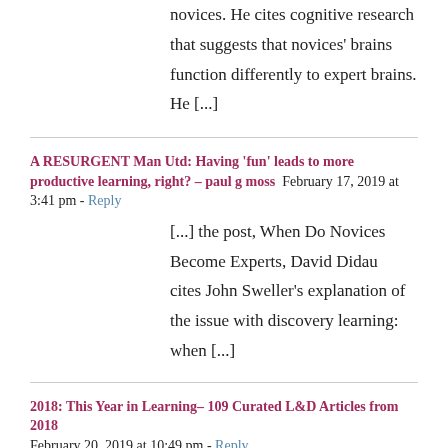novices. He cites cognitive research that suggests that novices' brains function differently to expert brains. He [...]
A RESURGENT Man Utd: Having 'fun' leads to more productive learning, right? – paul g moss  February 17, 2019 at 3:41 pm - Reply
[...] the post, When Do Novices Become Experts, David Didau cites John Sweller's explanation of the issue with discovery learning: when [...]
2018: This Year in Learning– 109 Curated L&D Articles from 2018  February 20, 2019 at 10:49 pm - Reply
[...] the curse of the subject matter expert myself. I really appreciated David Didau's